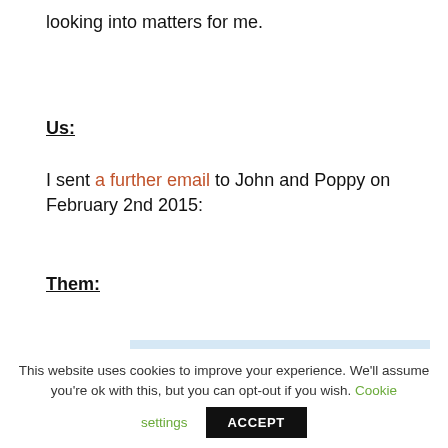looking into matters for me.
Us:
I sent a further email to John and Poppy on February 2nd 2015:
Them:
Dear Jim,
This website uses cookies to improve your experience. We'll assume you're ok with this, but you can opt-out if you wish. Cookie settings ACCEPT